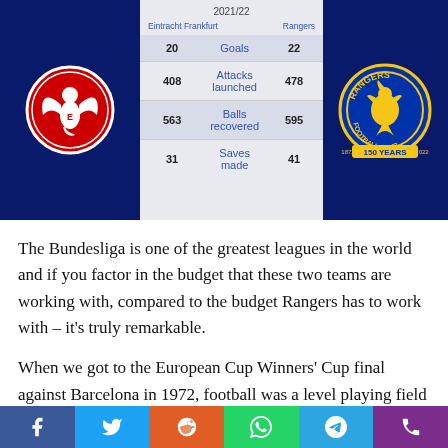[Figure (infographic): Eintracht Frankfurt vs Rangers infographic showing 2021/22 season statistics: Goals 20 vs 22, Attacks launched 408 vs 478, Balls recovered 563 vs 595, Saves made 31 vs 41. Blue background with team logos on each side.]
The Bundesliga is one of the greatest leagues in the world and if you factor in the budget that these two teams are working with, compared to the budget Rangers has to work with – it's truly remarkable.
When we got to the European Cup Winners' Cup final against Barcelona in 1972, football was a level playing field